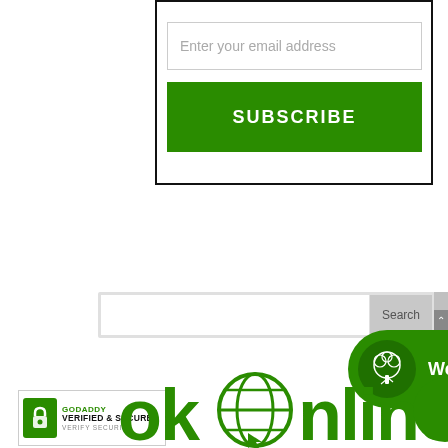[Figure (screenshot): Email subscription form with 'Enter your email address' input field and green SUBSCRIBE button, inside a bordered box]
[Figure (screenshot): Search bar with Search button and scrollbar on right edge]
[Figure (screenshot): Green pill-shaped welcome banner with tree icon and text 'Welcome to Oak Learners!']
[Figure (logo): GoDaddy Verified & Secured badge with lock icon]
[Figure (logo): Oak Online logo in green text with globe icon]